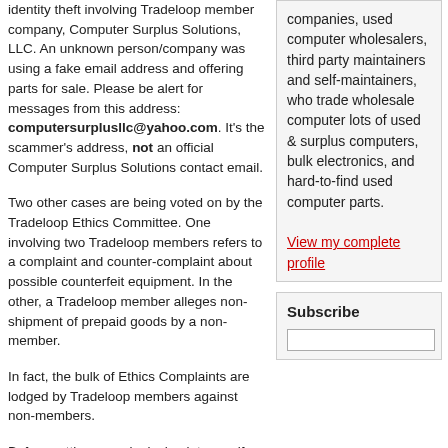identity theft involving Tradeloop member company, Computer Surplus Solutions, LLC. An unknown person/company was using a fake email address and offering parts for sale. Please be alert for messages from this address: computersurplusllc@yahoo.com. It's the scammer's address, not an official Computer Surplus Solutions contact email.
Two other cases are being voted on by the Tradeloop Ethics Committee. One involving two Tradeloop members refers to a complaint and counter-complaint about possible counterfeit equipment. In the other, a Tradeloop member alleges non-shipment of prepaid goods by a non-member.
In fact, the bulk of Ethics Complaints are lodged by Tradeloop members against non-members.
Before setting up a deal, check to see if the company offering to buy or sell is a Tradeloop member. We've designed our stringent member verification procedures to help keep spammers, scammers, identity thieves, and other
companies, used computer wholesalers, third party maintainers and self-maintainers, who trade wholesale computer lots of used & surplus computers, bulk electronics, and hard-to-find used computer parts.
View my complete profile
Subscribe